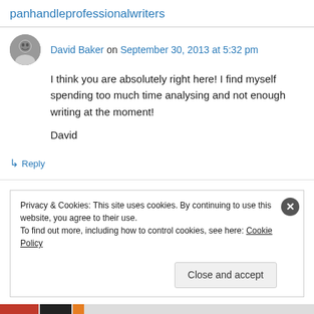panhandleprofessionalwriters
David Baker on September 30, 2013 at 5:32 pm
I think you are absolutely right here! I find myself spending too much time analysing and not enough writing at the moment!

David
↳ Reply
Privacy & Cookies: This site uses cookies. By continuing to use this website, you agree to their use.
To find out more, including how to control cookies, see here: Cookie Policy
Close and accept